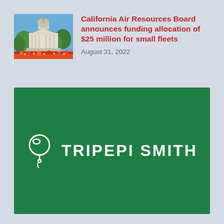[Figure (photo): Photo of California State Capitol building with blue sky, columns, and red/orange flowers at base]
California Air Resources Board announces funding allocation of $25 million for small fleets
August 31, 2022
[Figure (logo): Tripepi Smith logo — white balloon/location pin icon with text TRIPEPI SMITH on green background]